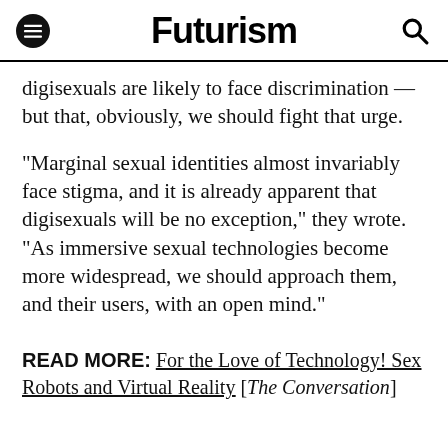Futurism
digisexuals are likely to face discrimination — but that, obviously, we should fight that urge.
"Marginal sexual identities almost invariably face stigma, and it is already apparent that digisexuals will be no exception," they wrote. "As immersive sexual technologies become more widespread, we should approach them, and their users, with an open mind."
READ MORE: For the Love of Technology! Sex Robots and Virtual Reality [The Conversation]